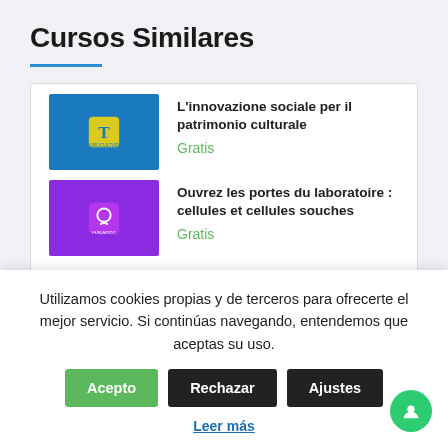Cursos Similares
L'innovazione sociale per il patrimonio culturale — Gratis
Ouvrez les portes du laboratoire : cellules et cellules souches — Gratis
Utilizamos cookies propias y de terceros para ofrecerte el mejor servicio. Si continúas navegando, entendemos que aceptas su uso.
Acepto | Rechazar | Ajustes
Leer más